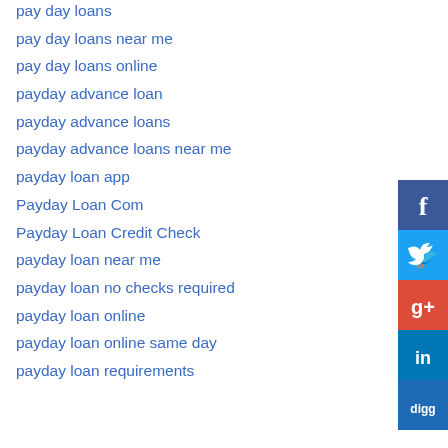pay day loans
pay day loans near me
pay day loans online
payday advance loan
payday advance loans
payday advance loans near me
payday loan app
Payday Loan Com
Payday Loan Credit Check
payday loan near me
payday loan no checks required
payday loan online
payday loan online same day
payday loan requirements